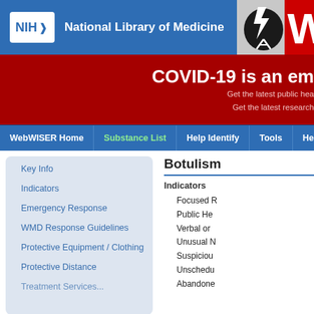[Figure (logo): NIH National Library of Medicine logo with white NIH box and blue text on blue header bar]
[Figure (illustration): WebWISER graphic with lightning bolt, tower antenna icon and red W logo on gray/silver background]
COVID-19 is an em...
Get the latest public hea...
Get the latest research...
WebWISER Home | Substance List | Help Identify | Tools | Help
Botulism
Indicators
Key Info
Indicators
Emergency Response
WMD Response Guidelines
Protective Equipment / Clothing
Protective Distance
Focused R...
Public He...
Verbal or ...
Unusual N...
Suspiciou...
Unschedu...
Abandone...